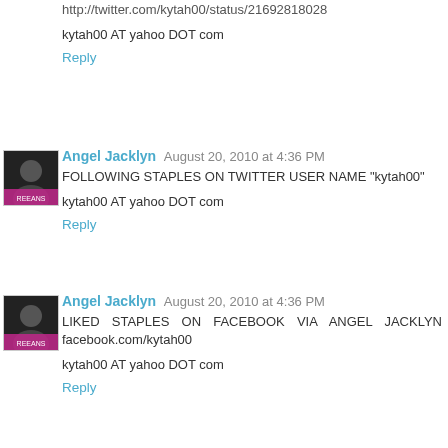http://twitter.com/kytah00/status/21692818028
kytah00 AT yahoo DOT com
Reply
Angel Jacklyn  August 20, 2010 at 4:36 PM
FOLLOWING STAPLES ON TWITTER USER NAME "kytah00"
kytah00 AT yahoo DOT com
Reply
Angel Jacklyn  August 20, 2010 at 4:36 PM
LIKED STAPLES ON FACEBOOK VIA ANGEL JACKLYN facebook.com/kytah00
kytah00 AT yahoo DOT com
Reply